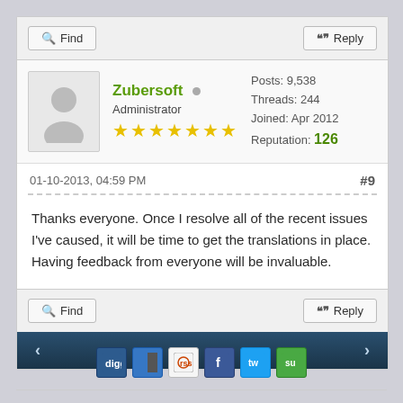Find
Reply
Zubersoft • Administrator ★★★★★★★
Posts: 9,538
Threads: 244
Joined: Apr 2012
Reputation: 126
01-10-2013, 04:59 PM
#9
Thanks everyone. Once I resolve all of the recent issues I've caused, it will be time to get the translations in place. Having feedback from everyone will be invaluable.
Find
Reply
[Figure (infographic): Social sharing icons: Digg, Delicious, Reddit/Stumbleupon, Facebook, Twitter, StumbleUpon]